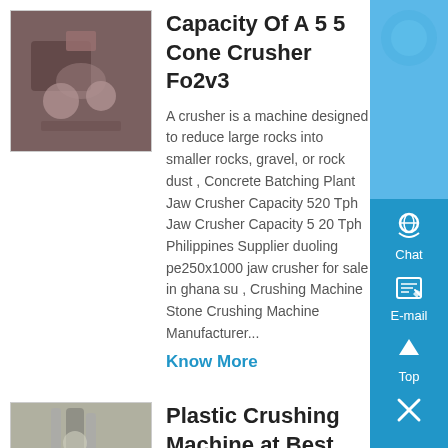Capacity Of A 5 5 Cone Crusher Fo2v3
A crusher is a machine designed to reduce large rocks into smaller rocks, gravel, or rock dust , Concrete Batching Plant Jaw Crusher Capacity 520 Tph Jaw Crusher Capacity 5 20 Tph Philippines Supplier duoling pe250x1000 jaw crusher for sale in ghana su , Crushing Machine Stone Crushing Machine Manufacturer...
Know More
Plastic Crushing Machine at Best Price in India
Suvegatech Jaw Crusher Plastic Crushing Machine, Capacity: 1 To 10 Tons Per Day, Model Name/Number: Pcm- 01-10 Malhaar Infrastructure And Electricals Private Limited Bengaluru 5 Lakh Call